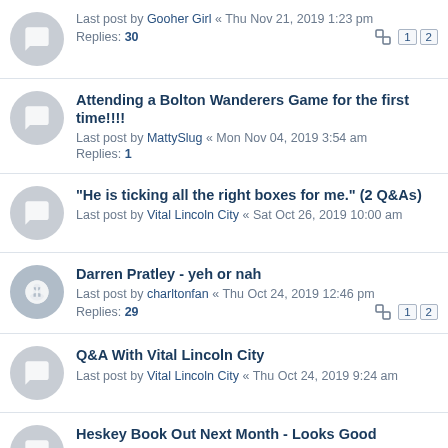Last post by Gooher Girl « Thu Nov 21, 2019 1:23 pm
Replies: 30
Attending a Bolton Wanderers Game for the first time!!!!
Last post by MattySlug « Mon Nov 04, 2019 3:54 am
Replies: 1
"He is ticking all the right boxes for me." (2 Q&As)
Last post by Vital Lincoln City « Sat Oct 26, 2019 10:00 am
Darren Pratley - yeh or nah
Last post by charltonfan « Thu Oct 24, 2019 12:46 pm
Replies: 29
Q&A With Vital Lincoln City
Last post by Vital Lincoln City « Thu Oct 24, 2019 9:24 am
Heskey Book Out Next Month - Looks Good